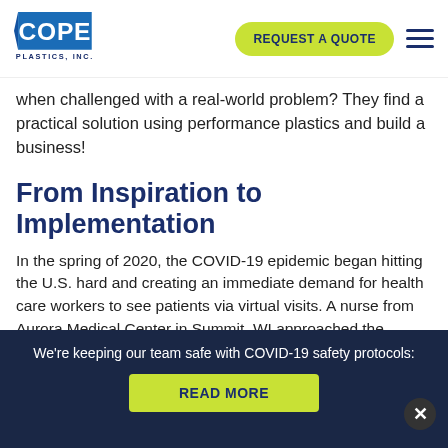COPE PLASTICS, INC. | REQUEST A QUOTE
when challenged with a real-world problem? They find a practical solution using performance plastics and build a business!
From Inspiration to Implementation
In the spring of 2020, the COVID-19 epidemic began hitting the U.S. hard and creating an immediate demand for health care workers to see patients via virtual visits. A nurse from Aurora Medical Center in Summit, WI approached the robotics team at Arrowhead High School in Hartland, WI looking for a way to use cell
We're keeping our team safe with COVID-19 safety protocols:
READ MORE